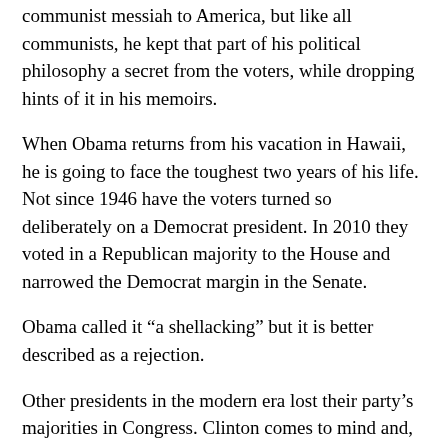communist messiah to America, but like all communists, he kept that part of his political philosophy a secret from the voters, while dropping hints of it in his memoirs.
When Obama returns from his vacation in Hawaii, he is going to face the toughest two years of his life. Not since 1946 have the voters turned so deliberately on a Democrat president. In 2010 they voted in a Republican majority to the House and narrowed the Democrat margin in the Senate.
Obama called it “a shellacking” but it is better described as a rejection.
Other presidents in the modern era lost their party’s majorities in Congress. Clinton comes to mind and, of course, George W. Bush. Obama’s loss was more than just political, it was personal.
Beyond Congress Obama will have to deal with a vibrant, energized movement, the Tea Party that intends to ensure the Republicans trim government spending and turn back the policy gains Obama put in place with Obamacare at the top of the list.